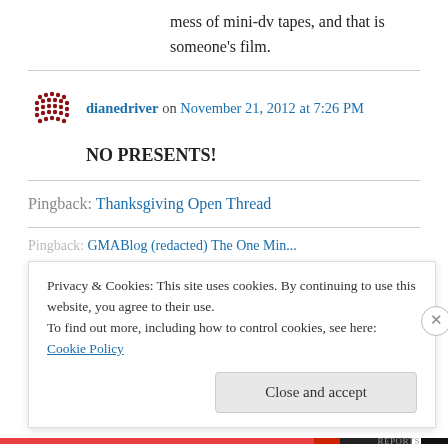mess of mini-dv tapes, and that is someone's film.
dianedriver on November 21, 2012 at 7:26 PM
NO PRESENTS!
Pingback: Thanksgiving Open Thread
Pingback: GMABlog (redacted) The One Minute...
Privacy & Cookies: This site uses cookies. By continuing to use this website, you agree to their use. To find out more, including how to control cookies, see here: Cookie Policy
Close and accept